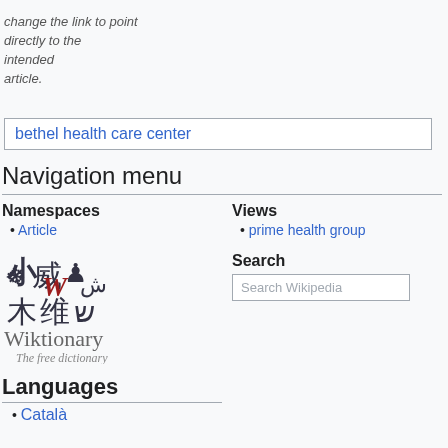change the link to point directly to the intended article.
bethel health care center
Navigation menu
Namespaces
Article
[Figure (logo): Wiktionary logo with multilingual glyphs and text 'Wiktionary The free dictionary']
Views
prime health group
Search
Search Wikipedia
Languages
Català